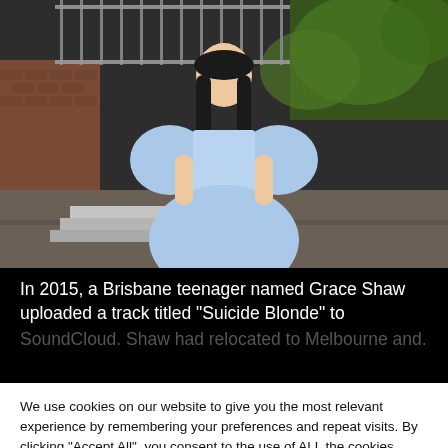[Figure (photo): A young woman with long dark hair wearing a light blue puff-sleeve dress standing outdoors in front of a brick wall with metal railings and green foliage.]
In 2015, a Brisbane teenager named Grace Shaw uploaded a track titled “Suicide Blonde” to SoundCloud. Shaw had relocated to Melbourne and...
We use cookies on our website to give you the most relevant experience by remembering your preferences and repeat visits. By clicking “Accept All”, you consent to the use of ALL the cookies. However, you may visit "Cookie Settings" to provide a controlled consent.
Cookie Settings
Accept All